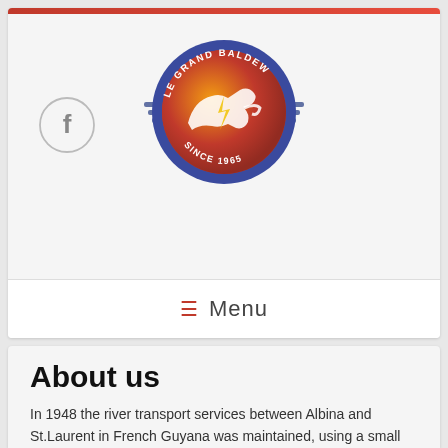[Figure (logo): Le Grand Baldew logo — circular emblem with a leaping panther on an orange/red background, blue border with text 'LE GRAND BALDEW' and 'SINCE 1965', flanked by blue horizontal wing stripes]
[Figure (logo): Facebook icon — circular outline with lowercase 'f' in grey]
☰  Menu
About us
In 1948 the river transport services between Albina and St.Laurent in French Guyana was maintained, using a small boat. But as time went on, the demand for road transport was felt. Using a Ford bus fitted with wooden